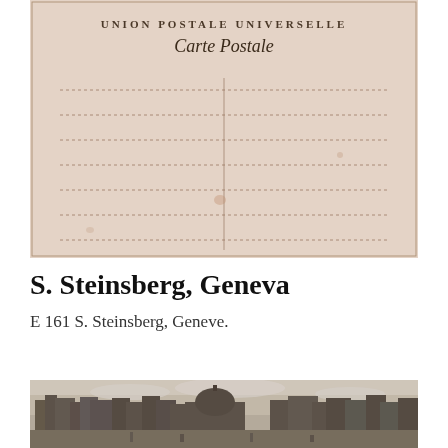[Figure (photo): Back of a postcard showing 'UNION POSTALE UNIVERSELLE / Carte Postale' printed at the top, with dotted lines for writing address and message on aged pinkish paper]
S. Steinsberg, Geneva
E 161 S. Steinsberg, Geneve.
[Figure (photo): Black and white photograph of a panoramic city view of Geneva (Geneve), showing historic buildings including a domed structure, along a waterfront]